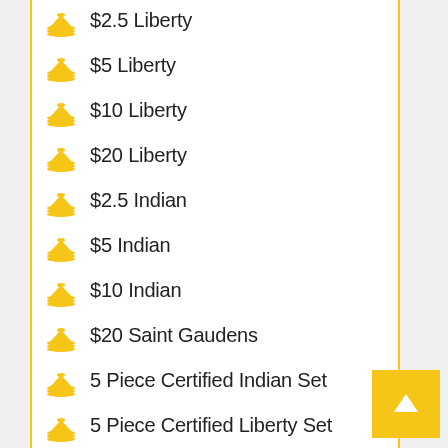$2.5 Liberty
$5 Liberty
$10 Liberty
$20 Liberty
$2.5 Indian
$5 Indian
$10 Indian
$20 Saint Gaudens
5 Piece Certified Indian Set
5 Piece Certified Liberty Set
Commemorative 1984 Olympics Coin
2016 .25 oz British £25 Gold